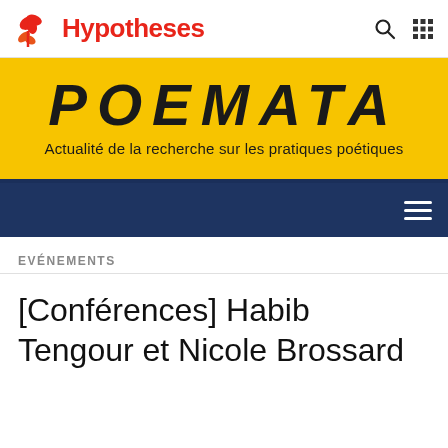Hypotheses
[Figure (logo): Hypotheses logo with red flower/spiral icon and red bold text 'Hypotheses']
[Figure (illustration): Yellow banner with POEMATA title in large black brush font and subtitle 'Actualité de la recherche sur les pratiques poétiques']
POEMATA
Actualité de la recherche sur les pratiques poétiques
EVÉNEMENTS
[Conférences] Habib Tengour et Nicole Brossard